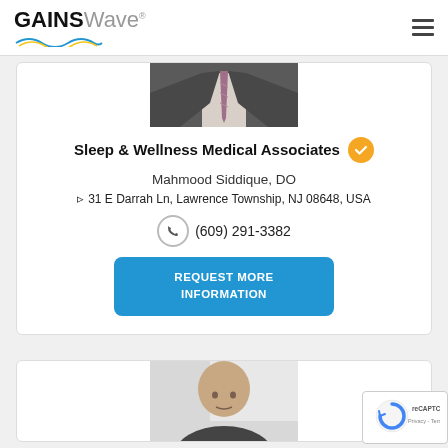GAINSWave® (logo with navigation hamburger menu)
[Figure (photo): Partial photo of a doctor in suit and tie, cropped at chest level]
Sleep & Wellness Medical Associates ✓
Mahmood Siddique, DO
31 E Darrah Ln, Lawrence Township, NJ 08648, USA
(609) 291-3382
REQUEST MORE INFORMATION
[Figure (photo): Partial photo of a bald man, cropped showing head and upper shoulders]
[Figure (logo): reCAPTCHA badge with Privacy and Terms links]